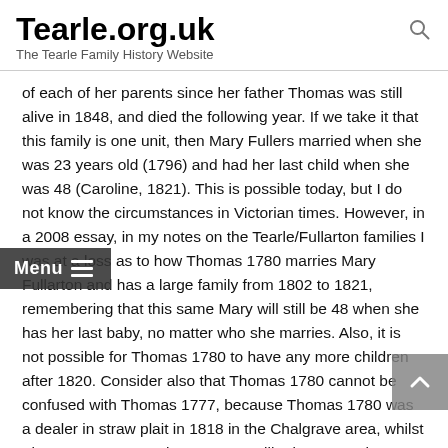Tearle.org.uk
The Tearle Family History Website
of each of her parents since her father Thomas was still alive in 1848, and died the following year. If we take it that this family is one unit, then Mary Fullers married when she was 23 years old (1796) and had her last child when she was 48 (Caroline, 1821). This is possible today, but I do not know the circumstances in Victorian times. However, in a 2008 essay, in my notes on the Tearle/Fullarton families I was at a loss as to how Thomas 1780 marries Mary Fullarton and has a large family from 1802 to 1821, remembering that this same Mary will still be 48 when she has her last baby, no matter who she marries. Also, it is not possible for Thomas 1780 to have any more children after 1820. Consider also that Thomas 1780 cannot be confused with Thomas 1777, because Thomas 1780 was a dealer in straw plait in 1818 in the Chalgrave area, whilst Thomas 1777 was a journeyman miller in Luton. There are also the local boundaries, such that Thomas 1780 and his family were centred on Chalgrave, whilst Thomas 1777 lived in